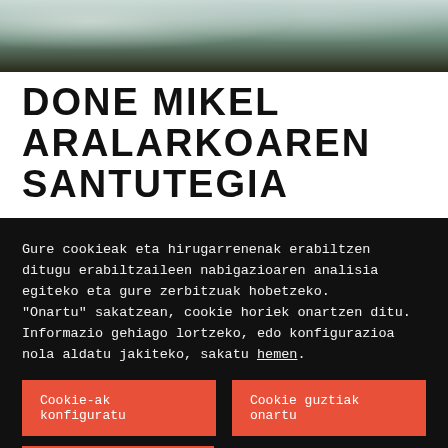[Figure (photo): Aerial or mountain landscape photo strip showing snowy terrain with dark trees/forest areas at the bottom]
DONE MIKEL ARALARKOAREN SANTUTEGIA
Eraikin erlijiosoak / Hiriguneak / Mendia, mendikatea eta mendilerroa /
Gure cookieak eta hirugarrenenak erabiltzen ditugu erabiltzaileen nabigazioaren analisia egiteko eta gure zerbitzuak hobetzeko.
"Onartu" sakatzean, cookie horiek onartzen ditu. Informazio gehiago lortzeko, edo konfigurazioa nola aldatu jakiteko, sakatu hemen.
Cookie-ak konfiguratu
Cookie guztiak onartu
Cookie-ak errefusatu